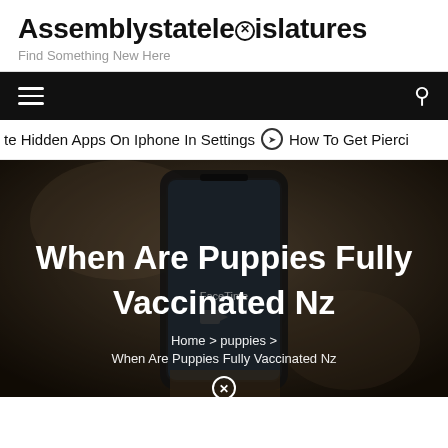Assemblystatelegislatures
Find Something New Here
Navigation bar with hamburger menu and search icon
te Hidden Apps On Iphone In Settings  ⊙  How To Get Pierci
[Figure (photo): Hero image showing a hand holding a smartphone displaying FaceTime app, with article title 'When Are Puppies Fully Vaccinated Nz' overlaid in bold white text, and breadcrumb navigation below.]